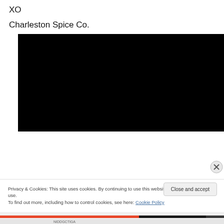XO
Charleston Spice Co.
[Figure (other): Black video player frame with no visible content]
Privacy & Cookies: This site uses cookies. By continuing to use this website, you agree to their use.
To find out more, including how to control cookies, see here: Cookie Policy